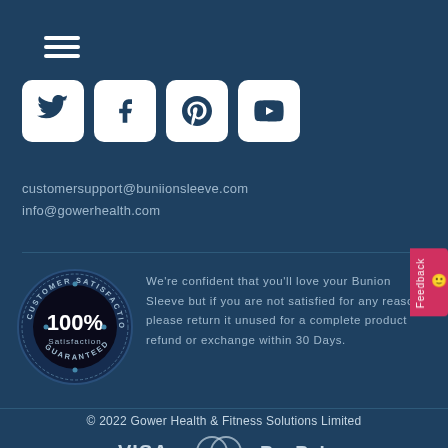[Figure (other): Hamburger menu icon (three horizontal white lines)]
[Figure (other): Social media icons: Twitter, Facebook, Pinterest, YouTube — white rounded square buttons on dark blue background]
customersupport@buniionsleeve.com
info@gowerhealth.com
[Figure (other): 100% Customer Satisfaction Guaranteed badge (circular dark badge with stars) alongside text: We're confident that you'll love your Bunion Sleeve but if you are not satisfied for any reason, please return it unused for a complete product refund or exchange within 30 Days.]
© 2022 Gower Health & Fitness Solutions Limited
[Figure (other): Payment method logos: VISA, MasterCard, PayPal]